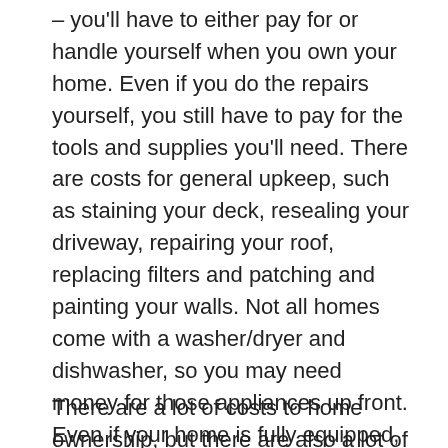– you'll have to either pay for or handle yourself when you own your home. Even if you do the repairs yourself, you still have to pay for the tools and supplies you'll need. There are costs for general upkeep, such as staining your deck, resealing your driveway, repairing your roof, replacing filters and patching and painting your walls. Not all homes come with a washer/dryer and dishwasher, so you may need money for those appliances up front. Even if your home is fully equipped, it's a good idea to budget for repairs so you're not caught off-guard if your furnace, air conditioner or hot water heater breaks down. And if you have a basement, you may need to consider purchasing a dehumidifier and sump pump, too.
There are a lot of costs to home ownership, but there are also a lot of benefits, from having a